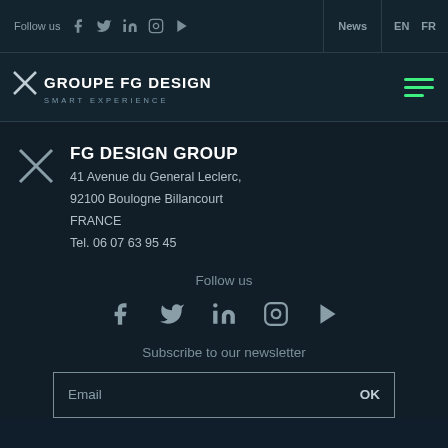Follow us | News | EN FR
[Figure (logo): Groupe FG Design logo with X mark and tagline SMART EXPERIENCE]
FG DESIGN GROUP
41 Avenue du General Leclerc,
92100 Boulogne Billancourt
FRANCE
Tel. 06 07 63 95 45
Follow us
[Figure (other): Social media icons: Facebook, Twitter, LinkedIn, Instagram, YouTube]
Subscribe to our newsletter
Email  OK